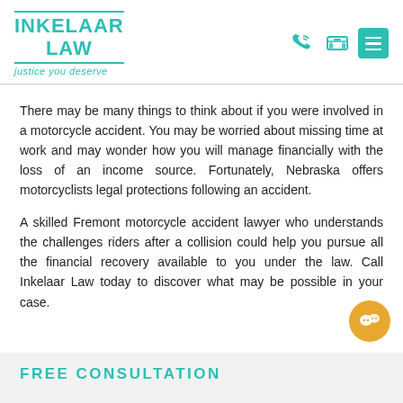INKELAAR LAW — justice you deserve
There may be many things to think about if you were involved in a motorcycle accident. You may be worried about missing time at work and may wonder how you will manage financially with the loss of an income source. Fortunately, Nebraska offers motorcyclists legal protections following an accident.
A skilled Fremont motorcycle accident lawyer who understands the challenges riders after a collision could help you pursue all the financial recovery available to you under the law. Call Inkelaar Law today to discover what may be possible in your case.
FREE CONSULTATION